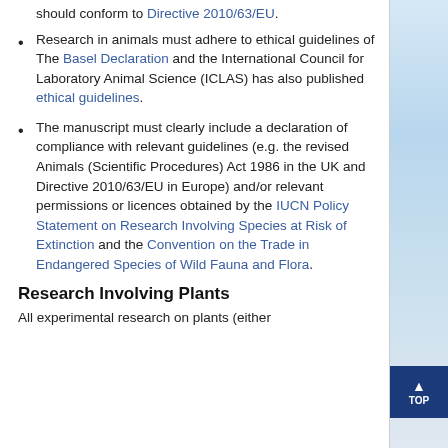should conform to Directive 2010/63/EU.
Research in animals must adhere to ethical guidelines of The Basel Declaration and the International Council for Laboratory Animal Science (ICLAS) has also published ethical guidelines.
The manuscript must clearly include a declaration of compliance with relevant guidelines (e.g. the revised Animals (Scientific Procedures) Act 1986 in the UK and Directive 2010/63/EU in Europe) and/or relevant permissions or licences obtained by the IUCN Policy Statement on Research Involving Species at Risk of Extinction and the Convention on the Trade in Endangered Species of Wild Fauna and Flora.
Research Involving Plants
All experimental research on plants (either